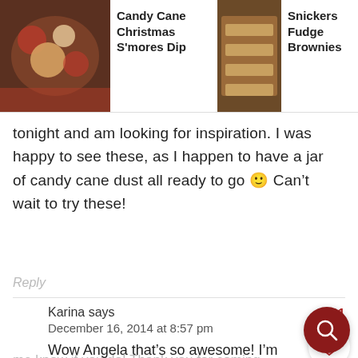[Figure (screenshot): Navigation bar with three food photos: Candy Cane Christmas S'mores Dip, Snickers Fudge Brownies, and a partially visible Espresso Fudge Brownie with Mocha Swirl]
tonight and am looking for inspiration. I was happy to see these, as I happen to have a jar of candy cane dust all ready to go 🙂 Can't wait to try these!
Reply
Karina says
December 16, 2014 at 8:57 pm
Wow Angela that's so awesome! I'm so happy you're going to try them. Please let me know if you do! Thank you for coming